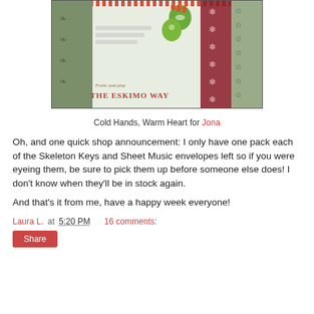[Figure (photo): Photo of a Christmas/holiday mailing card addressed to 'Jona Schmidt' with text 'please deliver to:' at top, green mittens/gloves illustration, 'Frolic and play' in italic, 'THE ESKIMO WAY' in bold red serif letters, with decorative snowflake and pattern borders on right side.]
Cold Hands, Warm Heart for Jona
Oh, and one quick shop announcement: I only have one pack each of the Skeleton Keys and Sheet Music envelopes left so if you were eyeing them, be sure to pick them up before someone else does! I don't know when they'll be in stock again.
And that's it from me, have a happy week everyone!
Laura L. at 5:20 PM    16 comments:
Share